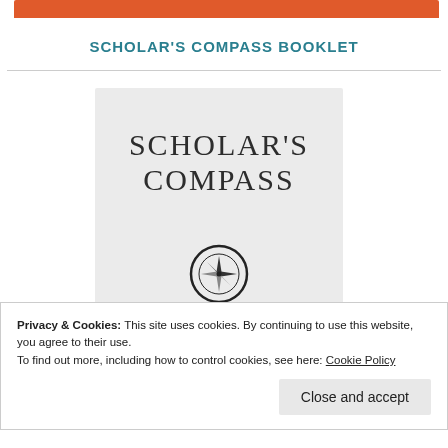[Figure (illustration): Orange decorative bar at top of page]
SCHOLAR'S COMPASS BOOKLET
[Figure (illustration): Scholar's Compass book cover image showing the title 'SCHOLAR'S COMPASS' in large serif letters, a compass rose icon in a circle, and the subtitle 'Connecting Faith & Work' on a light gray background]
Privacy & Cookies: This site uses cookies. By continuing to use this website, you agree to their use.
To find out more, including how to control cookies, see here: Cookie Policy
Close and accept